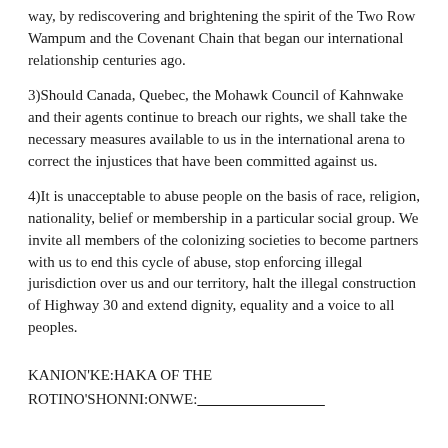way, by rediscovering and brightening the spirit of the Two Row Wampum and the Covenant Chain that began our international relationship centuries ago.
3)Should Canada, Quebec, the Mohawk Council of Kahnwake and their agents continue to breach our rights, we shall take the necessary measures available to us in the international arena to correct the injustices that have been committed against us.
4)It is unacceptable to abuse people on the basis of race, religion, nationality, belief or membership in a particular social group. We invite all members of the colonizing societies to become partners with us to end this cycle of abuse, stop enforcing illegal jurisdiction over us and our territory, halt the illegal construction of Highway 30 and extend dignity, equality and a voice to all peoples.
KANION'KE:HAKA OF THE ROTINO'SHONNI:ONWE:____________________________